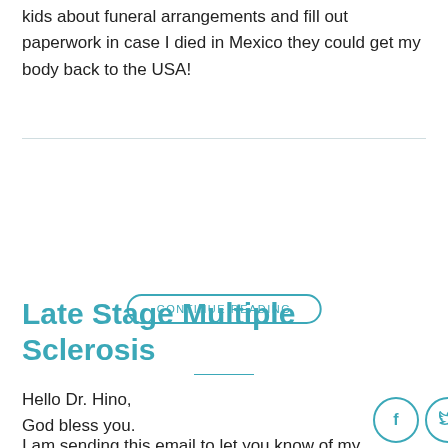kids about funeral arrangements and fill out paperwork in case I died in Mexico they could get my body back to the USA!
[Figure (other): CONTINUE READING button with rounded border in teal, followed by a short teal horizontal divider, then three social media icon circles (Facebook, Twitter, Google+) in teal outline style]
Late Stage Multiple Sclerosis
Hello Dr. Hino,
God bless you.
I am sending this email to let you know of my